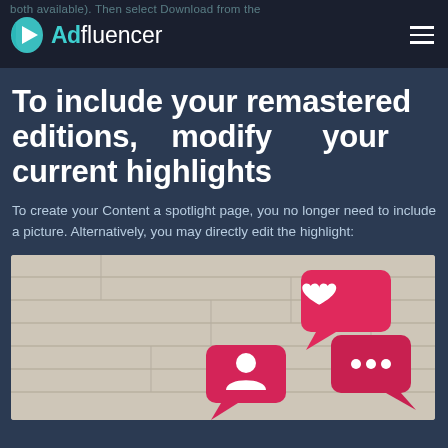both available). Then select Download from the
[Figure (logo): Adfluencer logo with teal play button icon and hamburger menu]
To include your remastered editions, modify your current highlights
To create your Content a spotlight page, you no longer need to include a picture. Alternatively, you may directly edit the highlight:
[Figure (photo): Social media notification icons (heart, person, speech bubbles in pink/red) on a light wood plank background]